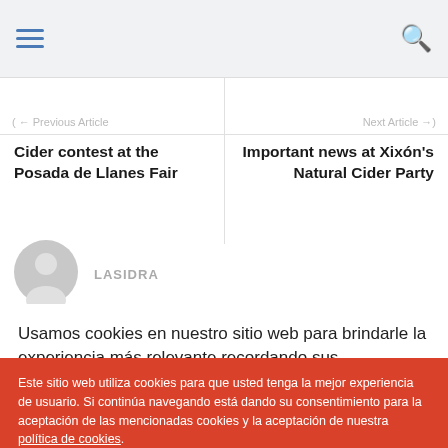Navigation header with hamburger menu and search icon
( ← Previous Article
Next Article →)
Cider contest at the Posada de Llanes Fair
Important news at Xixón's Natural Cider Party
[Figure (illustration): Grey avatar/user icon circle]
LASIDRA
Usamos cookies en nuestro sitio web para brindarle la experiencia más relevante recordando sus preferencias y
Este sitio web utiliza cookies para que usted tenga la mejor experiencia de usuario. Si continúa navegando está dando su consentimiento para la aceptación de las mencionadas cookies y la aceptación de nuestra política de cookies.

Esti sitiu ueb utiliza cookies pa que vusté tea la meyor esperiencia d'usuariu. Si continúa navegando ta dando¡l so consentimientu pa l'aceptación de les mencionaes cookies y l'aceptación de la nuesa política de cookies.
ACEPTAR